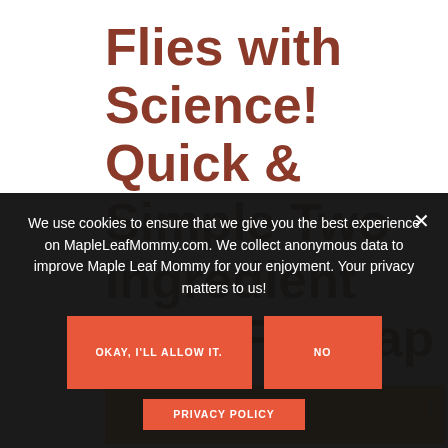Flies with Science! Quick & Simple Two Ingredient Fruit Fly Trap
by Deanna Tousignant — 2 Comments
[Figure (other): Orange colored image area partially visible at bottom of main content]
We use cookies to ensure that we give you the best experience on MapleLeafMommy.com. We collect anonymous data to improve Maple Leaf Mommy for your enjoyment. Your privacy matters to us!
OKAY, I'LL ALLOW IT.
NO
PRIVACY POLICY